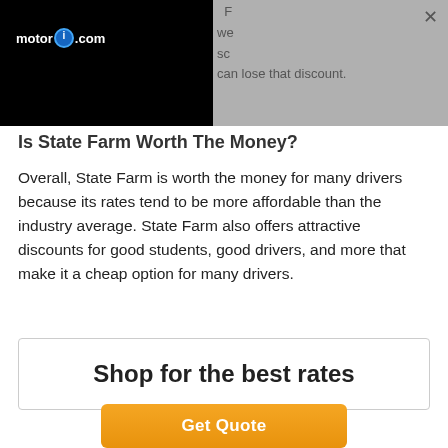[Figure (screenshot): Screenshot of motor1.com website with black video panel on left showing motor1.com logo, and gray overlay panel on right with partially visible text lines and a close X button. Text fragments visible: 'F', 'we', 'sc', 'can lose that discount.']
Is State Farm Worth The Money?
Overall, State Farm is worth the money for many drivers because its rates tend to be more affordable than the industry average. State Farm also offers attractive discounts for good students, good drivers, and more that make it a cheap option for many drivers.
Shop for the best rates
Get Quote